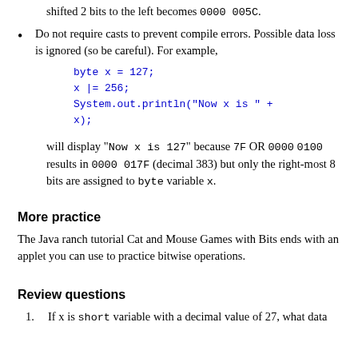shifted 2 bits to the left becomes 0000 005C.
Do not require casts to prevent compile errors. Possible data loss is ignored (so be careful). For example,
byte x = 127;
x |= 256;
System.out.println("Now x is " + x);
will display "Now x is 127" because 7F OR 0000 0100 results in 0000 017F (decimal 383) but only the right-most 8 bits are assigned to byte variable x.
More practice
The Java ranch tutorial Cat and Mouse Games with Bits ends with an applet you can use to practice bitwise operations.
Review questions
If x is short variable with a decimal value of 27, what data